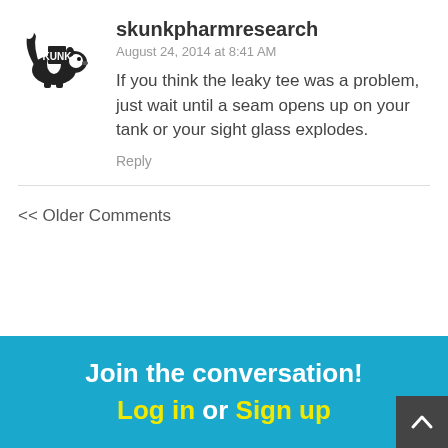[Figure (logo): Skunk Pharm Research avatar — black and white skunk/badger illustration with KUNK text on a sign]
skunkpharmresearch
August 24, 2014 at 8:41 AM
If you think the leaky tee was a problem, just wait until a seam opens up on your tank or your sight glass explodes.
Reply
<< Older Comments
Join the conversation! Log in  or  Sign up